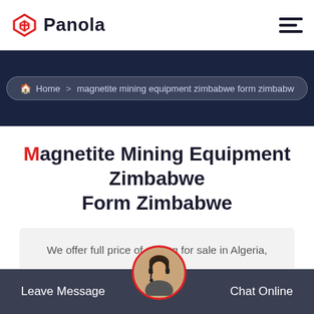Panola
Home > magnetite mining equipment zimbabwe form zimbabw
Magnetite Mining Equipment Zimbabwe Form Zimbabwe
We offer full price of mining for sale in Algeria, Ghana, Kenya, Egypt, South Africa, Indonesia, Brazil, Russia, Nigeria and more. If you want to know the price or other…
Leave Message   Chat Online